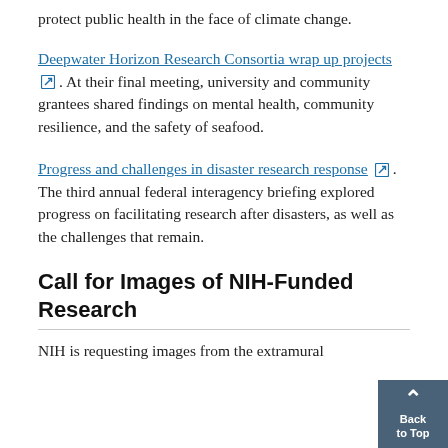protect public health in the face of climate change.
Deepwater Horizon Research Consortia wrap up projects. At their final meeting, university and community grantees shared findings on mental health, community resilience, and the safety of seafood.
Progress and challenges in disaster research response. The third annual federal interagency briefing explored progress on facilitating research after disasters, as well as the challenges that remain.
Call for Images of NIH-Funded Research
NIH is requesting images from the extramural